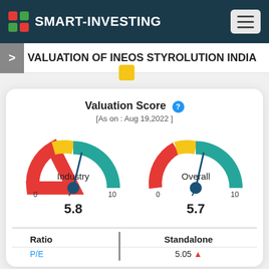SMART-INVESTING
VALUATION OF INEOS STYROLUTION INDIA
Valuation Score
[As on : Aug 19,2022 ]
[Figure (other): Gauge meter showing Industry valuation score of 5.8 out of 10, with needle pointing slightly past center. Gauge has red (left), yellow (top), and green (right) color segments.]
[Figure (other): Gauge meter showing Overall valuation score of 5.7 out of 10, with needle pointing slightly past center. Gauge has red (left), yellow (top), and green (right) color segments.]
| Ratio | Standalone |
| --- | --- |
| P/E | 5.05 ↑ |